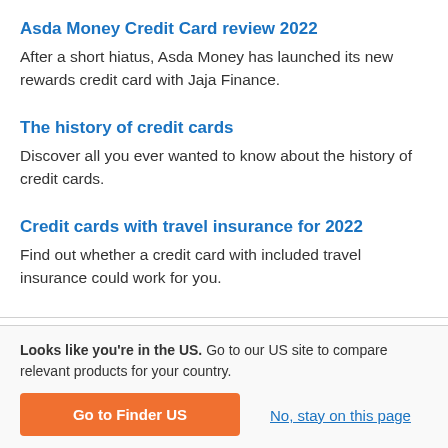Asda Money Credit Card review 2022
After a short hiatus, Asda Money has launched its new rewards credit card with Jaja Finance.
The history of credit cards
Discover all you ever wanted to know about the history of credit cards.
Credit cards with travel insurance for 2022
Find out whether a credit card with included travel insurance could work for you.
Looks like you're in the US. Go to our US site to compare relevant products for your country.
Go to Finder US
No, stay on this page